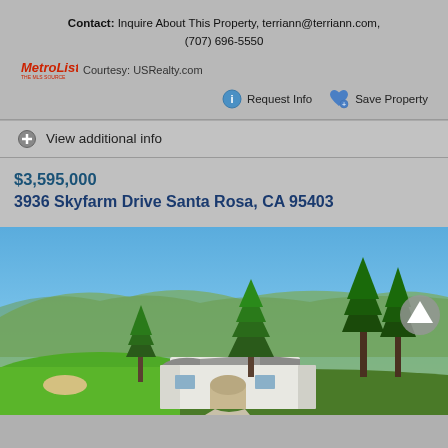Contact: Inquire About This Property, terriann@terriann.com, (707) 696-5550
MetroList Courtesy: USRealty.com
Request Info  Save Property
View additional info
$3,595,000
3936 Skyfarm Drive Santa Rosa, CA 95403
[Figure (photo): Aerial view of a luxury home at 3936 Skyfarm Drive Santa Rosa, CA 95403, showing a white Spanish-style house with a golf course and rolling hills with tall pine trees in the background under a blue sky.]